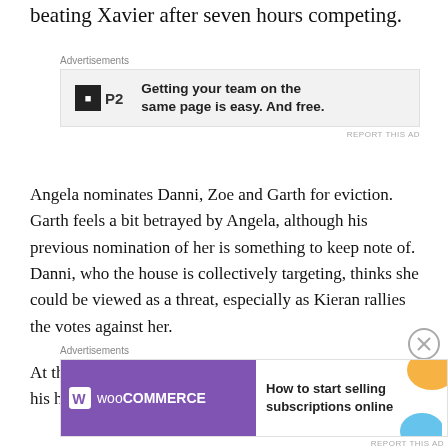beating Xavier after seven hours competing.
[Figure (other): P2 advertisement: Getting your team on the same page is easy. And free.]
Angela nominates Danni, Zoe and Garth for eviction. Garth feels a bit betrayed by Angela, although his previous nomination of her is something to keep note of. Danni, who the house is collectively targeting, thinks she could be viewed as a threat, especially as Kieran rallies the votes against her.
At the eviction, Garth reveals he holds a second vote to his housemates, and this makes Danni
[Figure (other): WooCommerce advertisement: How to start selling subscriptions online]